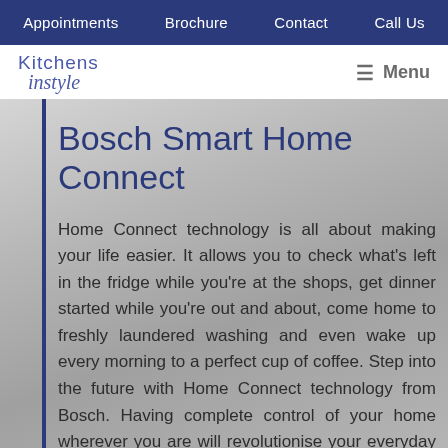Appointments | Brochure | Contact | Call Us
Kitchens Instyle | Menu
Bosch Smart Home Connect
Home Connect technology is all about making your life easier. It allows you to check what's left in the fridge while you're at the shops, get dinner started while you're out and about, come home to freshly laundered washing and even wake up every morning to a perfect cup of coffee. Step into the future with Home Connect technology from Bosch. Having complete control of your home wherever you are will revolutionise your everyday experience giving you access to the ultimate convenience.